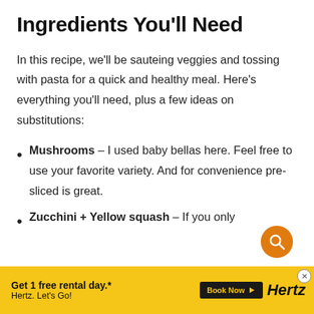Ingredients You'll Need
In this recipe, we'll be sauteing veggies and tossing with pasta for a quick and healthy meal. Here's everything you'll need, plus a few ideas on substitutions:
Mushrooms – I used baby bellas here. Feel free to use your favorite variety. And for convenience pre-sliced is great.
Zucchini + Yellow squash – If you only
[Figure (other): Orange circular search button with magnifying glass icon]
Get 1 free rental day.* Hertz. Let's Go! Book Now Hertz